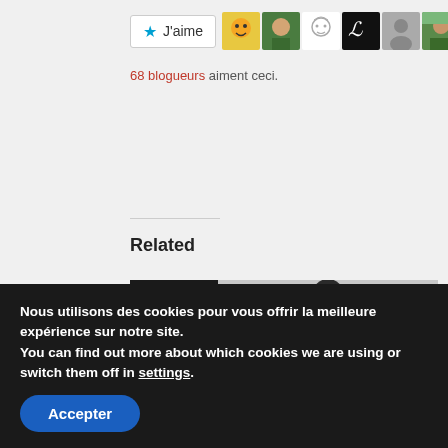[Figure (other): J'aime button with star icon, followed by a row of user avatar thumbnails]
68 blogueurs aiment ceci.
Related
[Figure (photo): Three colorful troll-like figurines with wild hair, wearing green and orange clothing on a dark background]
[Figure (photo): Medical or scientific circular image showing a round device with dark holes and a red circle highlighting one area]
Pride of the Pende
Ritual
[Figure (photo): Partial view of a third related image, partially cut off at bottom]
Nous utilisons des cookies pour vous offrir la meilleure expérience sur notre site.
You can find out more about which cookies we are using or switch them off in settings.